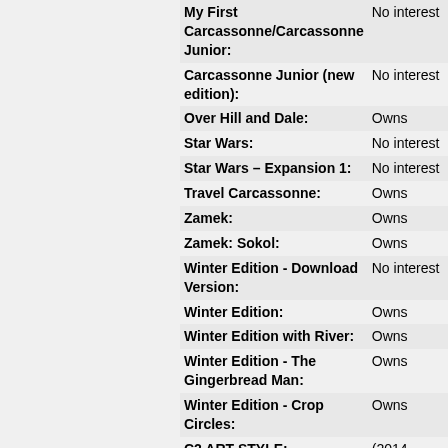| Item | Status |
| --- | --- |
| My First Carcassonne/Carcassonne Junior: | No interest |
| Carcassonne Junior (new edition): | No interest |
| Over Hill and Dale: | Owns |
| Star Wars: | No interest |
| Star Wars – Expansion 1: | No interest |
| Travel Carcassonne: | Owns |
| Zamek: | Owns |
| Zamek: Sokol: | Owns |
| Winter Edition - Download Version: | No interest |
| Winter Edition: | Owns |
| Winter Edition with River: | Owns |
| Winter Edition - The Gingerbread Man: | Owns |
| Winter Edition - Crop Circles: | Owns |
| C2 ART STYLE: | (2014-2021) |
| Carcassonne base game: | Owns |
| Exp 1: Inns & Cathedrals: | Owns |
| Exp 2: Traders & Builders: | Owns |
| Exp 3: The Princess & the Dragon: | Owns |
| Exp 4: The Tower: | Owns |